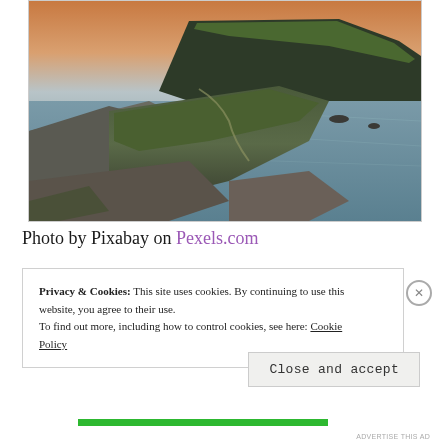[Figure (photo): Landscape photograph of coastal cliffs with green grassy tops, rocky outcrops, a winding path, and a calm sea under a sunset sky. Shot from a high vantage point looking toward a peninsula with a lighthouse.]
Photo by Pixabay on Pexels.com
Privacy & Cookies: This site uses cookies. By continuing to use this website, you agree to their use.
To find out more, including how to control cookies, see here: Cookie Policy
Close and accept